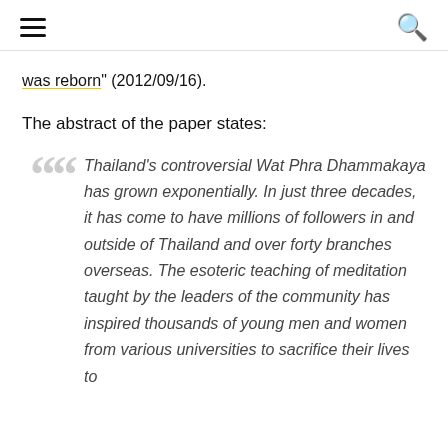[hamburger menu icon] [search icon]
was reborn" (2012/09/16).
The abstract of the paper states:
Thailand's controversial Wat Phra Dhammakaya has grown exponentially. In just three decades, it has come to have millions of followers in and outside of Thailand and over forty branches overseas. The esoteric teaching of meditation taught by the leaders of the community has inspired thousands of young men and women from various universities to sacrifice their lives to